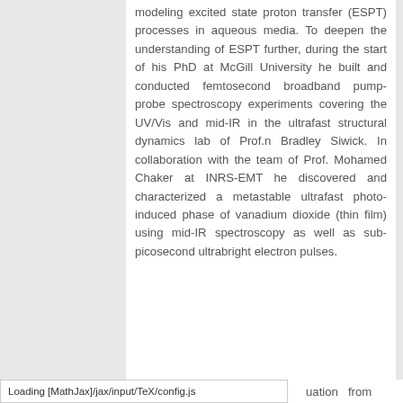modeling excited state proton transfer (ESPT) processes in aqueous media. To deepen the understanding of ESPT further, during the start of his PhD at McGill University he built and conducted femtosecond broadband pump-probe spectroscopy experiments covering the UV/Vis and mid-IR in the ultrafast structural dynamics lab of Prof.n Bradley Siwick. In collaboration with the team of Prof. Mohamed Chaker at INRS-EMT he discovered and characterized a metastable ultrafast photo-induced phase of vanadium dioxide (thin film) using mid-IR spectroscopy as well as sub-picosecond ultrabright electron pulses.
Loading [MathJax]/jax/input/TeX/config.js
uation from